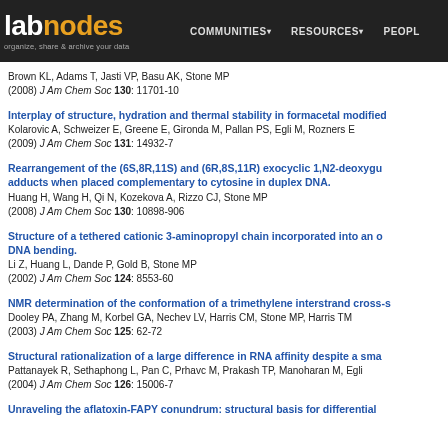labnodes - organize, share & archive your data | COMMUNITIES | RESOURCES | PEOPLE
Brown KL, Adams T, Jasti VP, Basu AK, Stone MP
(2008) J Am Chem Soc 130: 11701-10
Interplay of structure, hydration and thermal stability in formacetal modified...
Kolarovic A, Schweizer E, Greene E, Gironda M, Pallan PS, Egli M, Rozners E
(2009) J Am Chem Soc 131: 14932-7
Rearrangement of the (6S,8R,11S) and (6R,8S,11R) exocyclic 1,N2-deoxygu... adducts when placed complementary to cytosine in duplex DNA.
Huang H, Wang H, Qi N, Kozekova A, Rizzo CJ, Stone MP
(2008) J Am Chem Soc 130: 10898-906
Structure of a tethered cationic 3-aminopropyl chain incorporated into an o... DNA bending.
Li Z, Huang L, Dande P, Gold B, Stone MP
(2002) J Am Chem Soc 124: 8553-60
NMR determination of the conformation of a trimethylene interstrand cross-s...
Dooley PA, Zhang M, Korbel GA, Nechev LV, Harris CM, Stone MP, Harris TM
(2003) J Am Chem Soc 125: 62-72
Structural rationalization of a large difference in RNA affinity despite a sma...
Pattanayek R, Sethaphong L, Pan C, Prhavc M, Prakash TP, Manoharan M, Egli...
(2004) J Am Chem Soc 126: 15006-7
Unraveling the aflatoxin-FAPY conundrum: structural basis for differential...